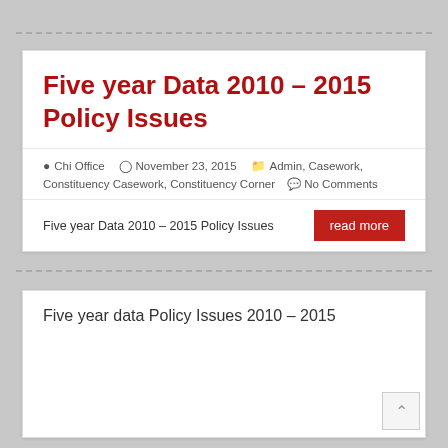Five year Data 2010 – 2015 Policy Issues
Chi Office   November 23, 2015   Admin, Casework, Constituency Casework, Constituency Corner   No Comments
Five year Data 2010 – 2015 Policy Issues
Five year data Policy Issues 2010 – 2015